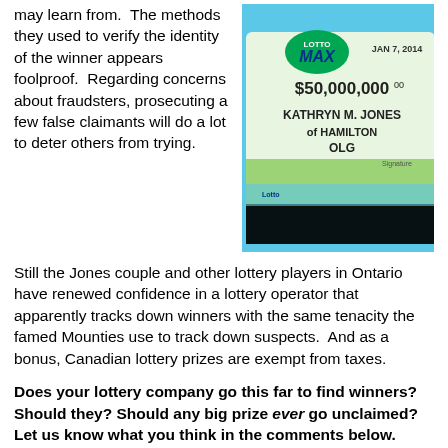may learn from.  The methods they used to verify the identity of the winner appears foolproof.  Regarding concerns about fraudsters, prosecuting a few false claimants will do a lot to deter others from trying.
[Figure (photo): A person holding a large Lotto Max cheque for $50,000,000.00 made out to Kathryn M. Jones of Hamilton, OLG, dated JAN 7, 2014.]
Still the Jones couple and other lottery players in Ontario have renewed confidence in a lottery operator that apparently tracks down winners with the same tenacity the famed Mounties use to track down suspects.  And as a bonus, Canadian lottery prizes are exempt from taxes.
Does your lottery company go this far to find winners? Should they? Should any big prize ever go unclaimed? Let us know what you think in the comments below.
[Figure (infographic): Social sharing buttons: Like 0 (Facebook) and Tweet (Twitter)]
Don't Get Burned...   Discover What Do...